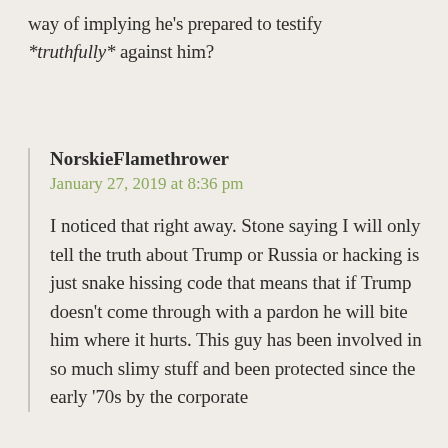way of implying he's prepared to testify *truthfully* against him?
NorskieFlamethrower
January 27, 2019 at 8:36 pm

I noticed that right away. Stone saying I will only tell the truth about Trump or Russia or hacking is just snake hissing code that means that if Trump doesn't come through with a pardon he will bite him where it hurts. This guy has been involved in so much slimy stuff and been protected since the early '70s by the corporate